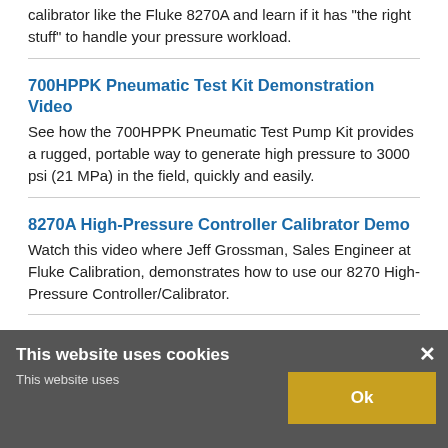calibrator like the Fluke 8270A and learn if it has "the right stuff" to handle your pressure workload.
700HPPK Pneumatic Test Kit Demonstration Video
See how the 700HPPK Pneumatic Test Pump Kit provides a rugged, portable way to generate high pressure to 3000 psi (21 MPa) in the field, quickly and easily.
8270A High-Pressure Controller Calibrator Demo
Watch this video where Jeff Grossman, Sales Engineer at Fluke Calibration, demonstrates how to use our 8270 High-Pressure Controller/Calibrator.
8588A Reference Multimeter Introduction Video
Watch this video for a brief introduction to the Fluke 8588A Reference Multimeter. Made for labs that
This website uses cookies
This website uses